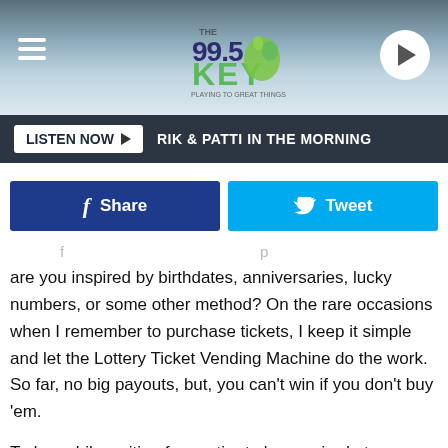The 99.5 KEY radio station header with hamburger menu and play button
LISTEN NOW ▶  RIK & PATTI IN THE MORNING
[Figure (other): Facebook Share button and Twitter Tweet button row]
are you inspired by birthdates, anniversaries, lucky numbers, or some other method? On the rare occasions when I remember to purchase tickets, I keep it simple and let the Lottery Ticket Vending Machine do the work. So far, no big payouts, but, you can't win if you don't buy 'em.

Today, while waiting for my tire to be repaired at an area tire shop, I strolled down the street to a nearby convenience store and noticed the sign in the window revealing the current jackpot amounts for the various games. So, I went inside, bought a few MEGA MILLION tickets, a few LOTTO